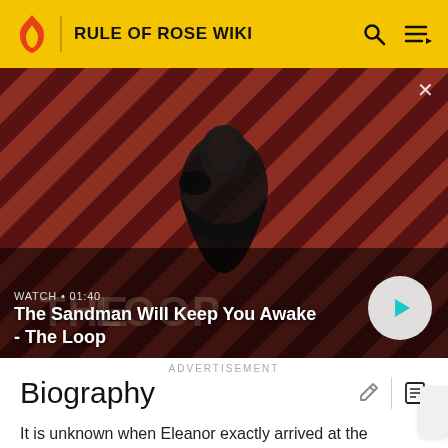RULE OF ROSE WIKI
[Figure (screenshot): Video thumbnail for 'The Sandman Will Keep You Awake - The Loop' with a dark-clad figure and a raven on a red and black striped background. Shows WATCH • 01:40 label and a play button.]
WATCH • 01:40
The Sandman Will Keep You Awake - The Loop
ADVERTISEMENT
Biography
It is unknown when Eleanor exactly arrived at the orphanage, but it is obvious that she was there before